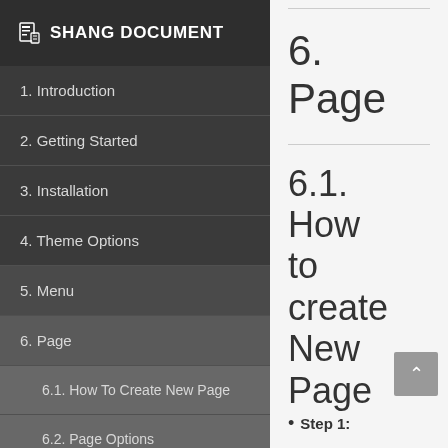SHANG DOCUMENT
1. Introduction
2. Getting Started
3. Installation
4. Theme Options
5. Menu
6. Page
6.1. How To Create New Page
6.2. Page Options
7. Blog Post
6. Page
6.1. How to create New Page
Step 1: